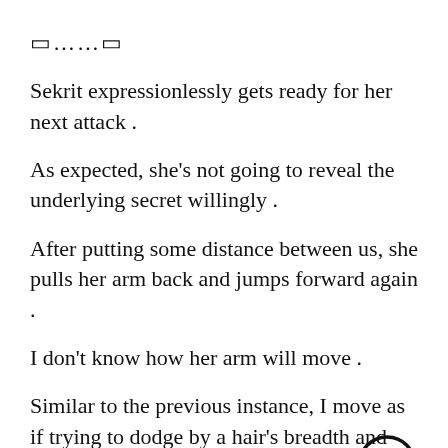❮……❯
Sekrit expressionlessly gets ready for her next attack .
As expected, she's not going to reveal the underlying secret willingly .
After putting some distance between us, she pulls her arm back and jumps forward again .
I don't know how her arm will move .
Similar to the previous instance, I move as if trying to dodge by a hair's breadth and wait for Sekrit's arm to extend .
[Figure (illustration): A circular arrow-up button/icon (upward pointing arrow inside a circle), positioned at bottom-right of the page.]
That's when I close the distance and grab her arm .